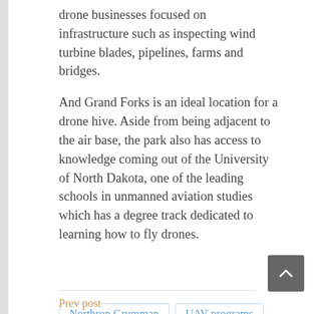drone businesses focused on infrastructure such as inspecting wind turbine blades, pipelines, farms and bridges.
And Grand Forks is an ideal location for a drone hive. Aside from being adjacent to the air base, the park also has access to knowledge coming out of the University of North Dakota, one of the leading schools in unmanned aviation studies which has a degree track dedicated to learning how to fly drones.
Northrop Grumman
UAV programs
University of North Dakota
Prev post